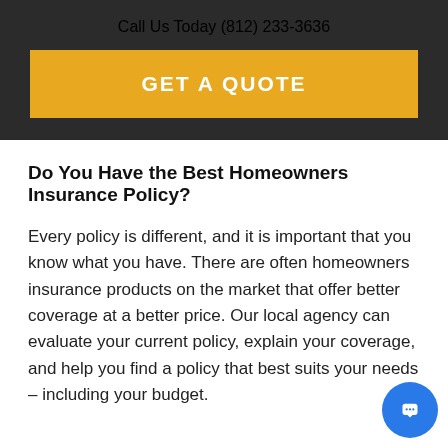Call Us Today (812) 233-3636
GET A QUOTE
Do You Have the Best Homeowners Insurance Policy?
Every policy is different, and it is important that you know what you have. There are often homeowners insurance products on the market that offer better coverage at a better price. Our local agency can evaluate your current policy, explain your coverage, and help you find a policy that best suits your needs – including your budget.